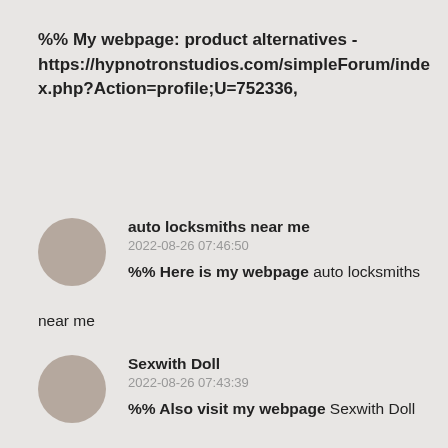%% My webpage: product alternatives - https://hypnotronstudios.com/simpleForum/index.php?Action=profile;U=752336,
auto locksmiths near me
2022-08-26 07:46:50
%% Here is my webpage auto locksmiths near me
Sexwith Doll
2022-08-26 07:43:39
%% Also visit my webpage Sexwith Doll